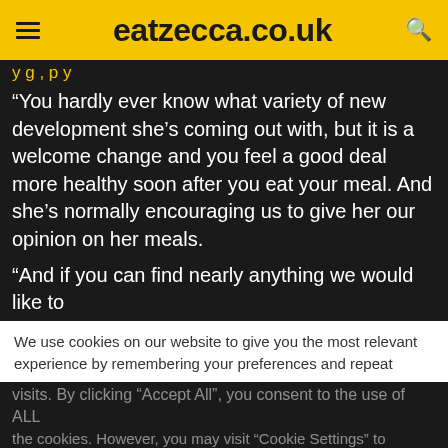eatzecca.co.uk
“You hardly ever know what variety of new development she’s coming out with, but it is a welcome change and you feel a good deal more healthy soon after you eat your meal. And she’s normally encouraging us to give her our opinion on her meals.
“And if you can find nearly anything we would like to
We use cookies on our website to give you the most relevant experience by remembering your preferences and repeat visits. By clicking “Accept All”, you consent to the use of ALL the cookies. However, you may visit “Cookie Settings” to provide a controlled consent.
This website stores data such as cookies to enable necessary site functionality, including analytics, targeting, and personalization. By remaining on this website you indicate your consent Cookie Policy